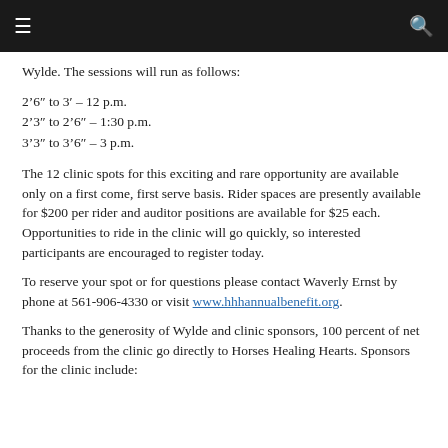Wylde. The sessions will run as follows:
2'6″ to 3′ – 12 p.m.
2'3″ to 2'6″ – 1:30 p.m.
3'3″ to 3'6″ – 3 p.m.
The 12 clinic spots for this exciting and rare opportunity are available only on a first come, first serve basis. Rider spaces are presently available for $200 per rider and auditor positions are available for $25 each. Opportunities to ride in the clinic will go quickly, so interested participants are encouraged to register today.
To reserve your spot or for questions please contact Waverly Ernst by phone at 561-906-4330 or visit www.hhhannualbenefit.org.
Thanks to the generosity of Wylde and clinic sponsors, 100 percent of net proceeds from the clinic go directly to Horses Healing Hearts. Sponsors for the clinic include: